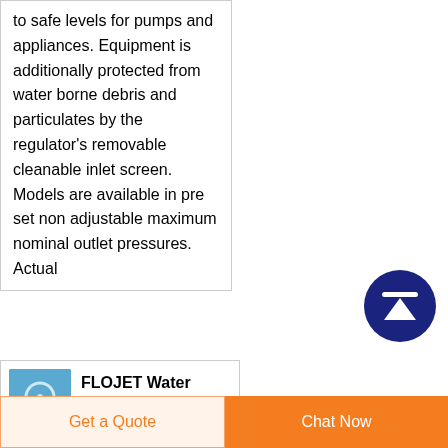to safe levels for pumps and appliances. Equipment is additionally protected from water borne debris and particulates by the regulator's removable cleanable inlet screen. Models are available in pre set non adjustable maximum nominal outlet pressures. Actual
[Figure (illustration): Dark blue circular scroll-to-top button with white upward arrow and horizontal line at top]
[Figure (photo): Small product thumbnail image of FLOJET water pressure regulator on blue background]
FLOJET Water Pressure Regulator Inline/CAQUA
Get a Quote
Chat Now